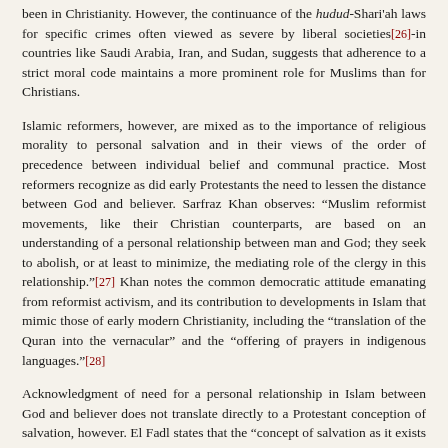been in Christianity. However, the continuance of the hudud-Shari'ah laws for specific crimes often viewed as severe by liberal societies[26]-in countries like Saudi Arabia, Iran, and Sudan, suggests that adherence to a strict moral code maintains a more prominent role for Muslims than for Christians.
Islamic reformers, however, are mixed as to the importance of religious morality to personal salvation and in their views of the order of precedence between individual belief and communal practice. Most reformers recognize as did early Protestants the need to lessen the distance between God and believer. Sarfraz Khan observes: “Muslim reformist movements, like their Christian counterparts, are based on an understanding of a personal relationship between man and God; they seek to abolish, or at least to minimize, the mediating role of the clergy in this relationship.”[27] Khan notes the common democratic attitude emanating from reformist activism, and its contribution to developments in Islam that mimic those of early modern Christianity, including the “translation of the Quran into the vernacular” and the “offering of prayers in indigenous languages.”[28]
Acknowledgment of need for a personal relationship in Islam between God and believer does not translate directly to a Protestant conception of salvation, however. El Fadl states that the “concept of salvation as it exists in the Christian theological tradition…